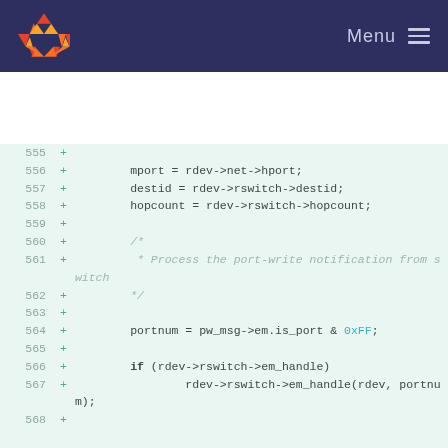GitLab Menu
[Figure (screenshot): Code diff view showing lines 555-568 of a C source file with added lines (marked with +), displaying code related to mport, destid, hopcount, portnum, and rswitch em_handle assignments]